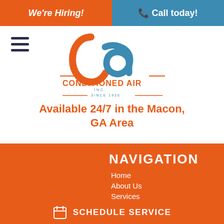We're Hiring!
Call today!
[Figure (logo): Conditioned Air Inc. logo with stylized 'ca' letters in orange and blue, SINCE 1936]
Available 24/7 in the Macon, GA Area
NAVIGATION
Home
About Us
Services
Specials
Products
SCHEDULE SERVICE